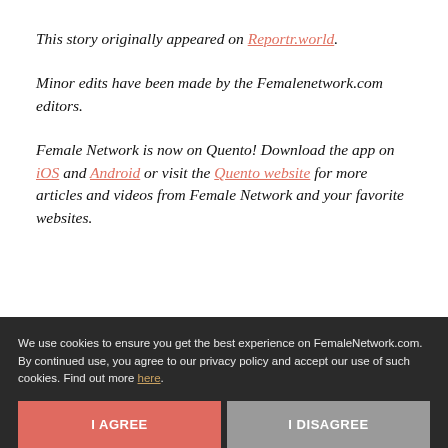This story originally appeared on Reportr.world.
Minor edits have been made by the Femalenetwork.com editors.
Female Network is now on Quento! Download the app on iOS and Android or visit the Quento website for more articles and videos from Female Network and your favorite websites.
We use cookies to ensure you get the best experience on FemaleNetwork.com. By continued use, you agree to our privacy policy and accept our use of such cookies. Find out more here.
I AGREE
I DISAGREE